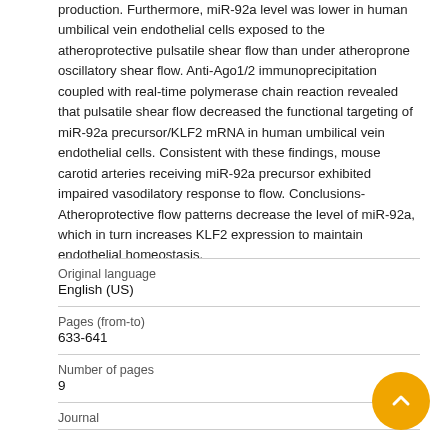production. Furthermore, miR-92a level was lower in human umbilical vein endothelial cells exposed to the atheroprotective pulsatile shear flow than under atheroprone oscillatory shear flow. Anti-Ago1/2 immunoprecipitation coupled with real-time polymerase chain reaction revealed that pulsatile shear flow decreased the functional targeting of miR-92a precursor/KLF2 mRNA in human umbilical vein endothelial cells. Consistent with these findings, mouse carotid arteries receiving miR-92a precursor exhibited impaired vasodilatory response to flow. Conclusions- Atheroprotective flow patterns decrease the level of miR-92a, which in turn increases KLF2 expression to maintain endothelial homeostasis.
| Field | Value |
| --- | --- |
| Original language | English (US) |
| Pages (from-to) | 633-641 |
| Number of pages | 9 |
| Journal |  |